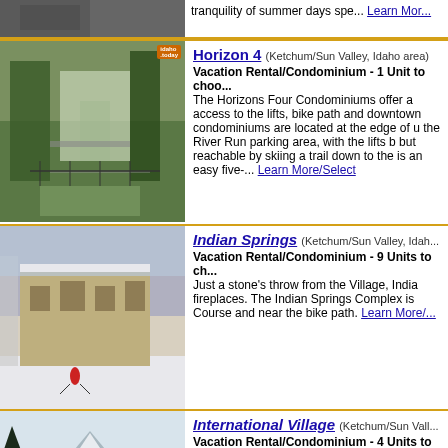[Figure (photo): Partial top strip of a previous listing image, stone building exterior]
[Figure (photo): Horizon 4 condominium exterior with trees, fencing, pool area visible, Idaho.today badge in top right]
Horizon 4 (Ketchum/Sun Valley, Idaho area)
Vacation Rental/Condominium - 1 Unit to choo... The Horizons Four Condominiums offer a access to the lifts, bike path and downtown condominiums are located at the edge of u the River Run parking area, with the lifts b but reachable by skiing a trail down to the is an easy five-... Learn More/Select
[Figure (photo): Indian Springs condo complex in winter with snow, skier visible in foreground]
Indian Springs (Ketchum/Sun Valley, Idaho...
Vacation Rental/Condominium - 9 Units to ch... Just a stone's throw from the Village, India fireplaces. The Indian Springs Complex is Course and near the bike path. Learn More/
[Figure (photo): International Village condominiums in winter with snowy mountain and evergreen trees]
International Village (Ketchum/Sun Vall...
Vacation Rental/Condominium - 4 Units to cho... Cradled between Warm Springs Creek and International Village is the closest you can Lifts. Learn More/Select